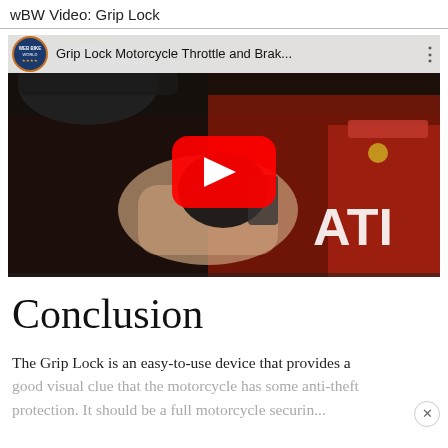wBW Video: Grip Lock
[Figure (screenshot): Embedded YouTube video thumbnail showing 'Grip Lock Motorcycle Throttle and Brak...' with a Web Bike World logo, a red Ducati motorcycle handlebar close-up with a hand installing a grip lock device, and a red YouTube play button in the center.]
Conclusion
The Grip Lock is an easy-to-use device that provides a good visual clue that the motorcycle has some anti-theft protection. It should be a full motorcycle security...